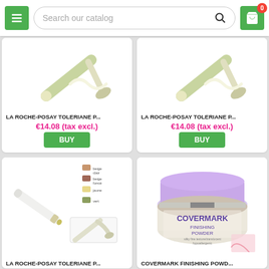Search our catalog
[Figure (photo): LA ROCHE-POSAY Toleriane product image (tube with cream)]
LA ROCHE-POSAY TOLERIANE P...
€14.08  (tax excl.)
BUY
[Figure (photo): LA ROCHE-POSAY Toleriane product image (tube with cream)]
LA ROCHE-POSAY TOLERIANE P...
€14.08  (tax excl.)
BUY
[Figure (photo): LA ROCHE-POSAY Toleriane concealer pen with color swatches (beige clair, beige foncé, jaune, vert)]
LA ROCHE-POSAY TOLERIANE P...
[Figure (photo): Covermark Finishing Powder jar with purple lid]
COVERMARK FINISHING POWD...